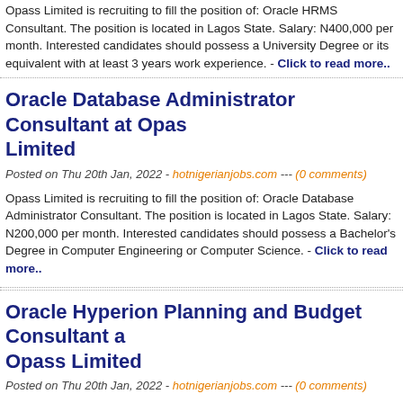Opass Limited is recruiting to fill the position of: Oracle HRMS Consultant. The position is located in Lagos State. Salary: N400,000 per month. Interested candidates should possess a University Degree or its equivalent with at least 3 years work experience. - Click to read more..
Oracle Database Administrator Consultant at Opass Limited
Posted on Thu 20th Jan, 2022 - hotnigerianjobs.com --- (0 comments)
Opass Limited is recruiting to fill the position of: Oracle Database Administrator Consultant. The position is located in Lagos State. Salary: N200,000 per month. Interested candidates should possess a Bachelor's Degree in Computer Engineering or Computer Science. - Click to read more..
Oracle Hyperion Planning and Budget Consultant at Opass Limited
Posted on Thu 20th Jan, 2022 - hotnigerianjobs.com --- (0 comments)
Opass Limited is recruiting to fill the position of: Oracle Hyperion Planning...